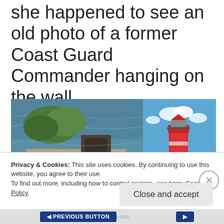she happened to see an old photo of a former Coast Guard Commander hanging on the wall. “That’s the man! That’s the man who told me to lock the door!”
[Figure (photo): Two side-by-side photos: left shows an aerial view of a stone dock/pier structure with water and trees; right shows a red lighthouse with blue sky and green trees]
Privacy & Cookies: This site uses cookies. By continuing to use this website, you agree to their use.
To find out more, including how to control cookies, see here: Cookie Policy